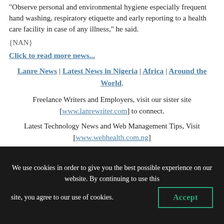“Observe personal and environmental hygiene especially frequent hand washing, respiratory etiquette and early reporting to a health care facility in case of any illness,” he said.
{NAN}
Click to read more news...
Lanre News | Latest News in Nigeria | Africa | Around the World.
Freelance Writers and Employers, visit our sister site [www.lanrewriter.com] to connect.
Latest Technology News and Web Management Tips, Visit [www.webhealth.com.ng]
We use cookies in order to give you the best possible experience on our website. By continuing to use this site, you agree to our use of cookies.